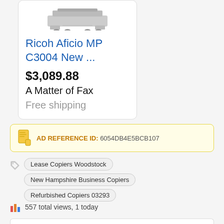[Figure (illustration): Product listing card showing a Ricoh Aficio MP C3004 printer/copier with a small device image at top, price $3,089.88, seller A Matter of Fax, and Free shipping.]
Ricoh Aficio MP C3004 New ...
$3,089.88
A Matter of Fax
Free shipping
AD REFERENCE ID: 6054DB4E5BCB107
Lease Copiers Woodstock
New Hampshire Business Copiers
Refurbished Copiers 03293
557 total views, 1 today